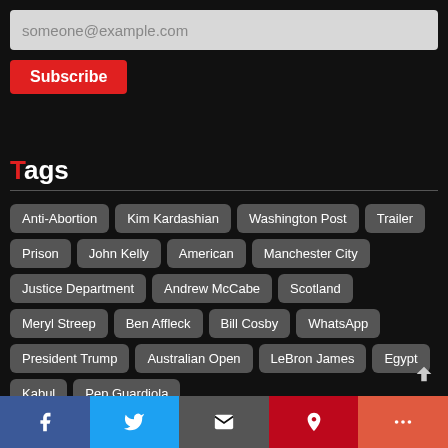someone@example.com
Subscribe
Tags
Anti-Abortion
Kim Kardashian
Washington Post
Trailer
Prison
John Kelly
American
Manchester City
Justice Department
Andrew McCabe
Scotland
Meryl Streep
Ben Affleck
Bill Cosby
WhatsApp
President Trump
Australian Open
LeBron James
Egypt
Kabul
Pep Guardiola